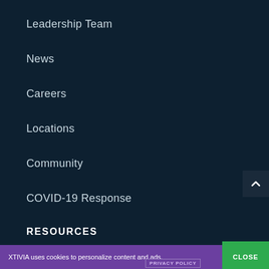Leadership Team
News
Careers
Locations
Community
COVID-19 Response
RESOURCES
Accept and Close ✕
XTIVIA uses cookies to personalize content and ads.
CLOSE
PRIVACY POLICY